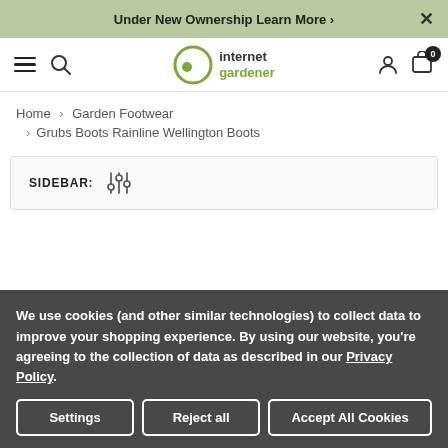Under New Ownership Learn More ›
Internet gardener — navigation bar with hamburger menu, search icon, logo, user icon, cart (0)
Home › Garden Footwear › Grubs Boots Rainline Wellington Boots
SIDEBAR:
We use cookies (and other similar technologies) to collect data to improve your shopping experience. By using our website, you're agreeing to the collection of data as described in our Privacy Policy.
Settings | Reject all | Accept All Cookies